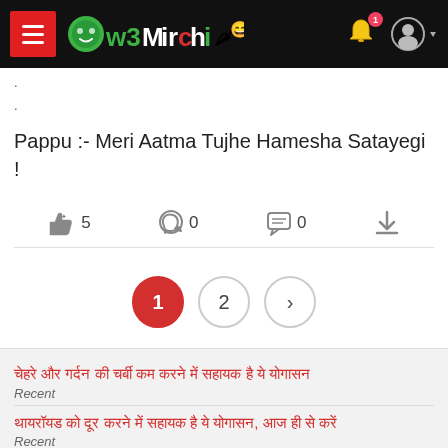w3Mirchi
.
.
Pappu :- Meri Aatma Tujhe Hamesha Satayegi !
👍 5   WhatsApp 0   Comments 0   Download
Pagination: 1, 2, >
चेहरे और गर्दन की चर्बी कम करने में सहायक है ये योगासन
Recent
थायरॉयड को दूर करने में सहायक है ये योगासन, आज ही से करें
Recent